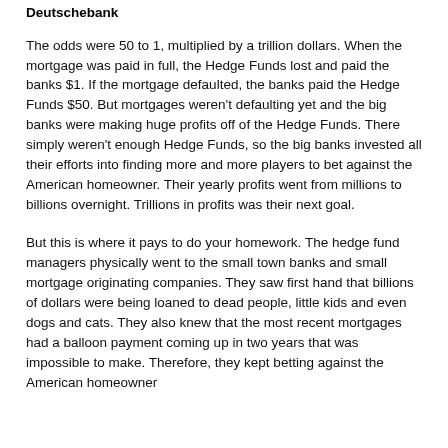Deutschebank
The odds were 50 to 1, multiplied by a trillion dollars. When the mortgage was paid in full, the Hedge Funds lost and paid the banks $1. If the mortgage defaulted, the banks paid the Hedge Funds $50. But mortgages weren't defaulting yet and the big banks were making huge profits off of the Hedge Funds. There simply weren't enough Hedge Funds, so the big banks invested all their efforts into finding more and more players to bet against the American homeowner. Their yearly profits went from millions to billions overnight. Trillions in profits was their next goal.
But this is where it pays to do your homework. The hedge fund managers physically went to the small town banks and small mortgage originating companies. They saw first hand that billions of dollars were being loaned to dead people, little kids and even dogs and cats. They also knew that the most recent mortgages had a balloon payment coming up in two years that was impossible to make. Therefore, they kept betting against the American homeowner